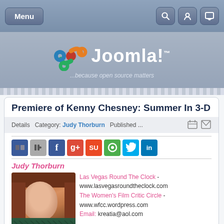Menu | Search | Profile | Display
[Figure (logo): Joomla! logo with tagline '...because open source matters']
Premiere of Kenny Chesney: Summer In 3-D
Details  Category: Judy Thorburn  Published ...
[Figure (infographic): Social sharing icons: Delicious, Digg, Facebook, Google+, StumbleUpon, Diigo, Twitter, LinkedIn]
Judy Thorburn
[Figure (photo): Photo of Judy Thorburn, a woman with long reddish-brown hair]
Las Vegas Round The Clock - www.lasvegasroundtheclock.com
The Women's Film Critic Circle - www.wfcc.wordpress.com
Email: kreatia@aol.com